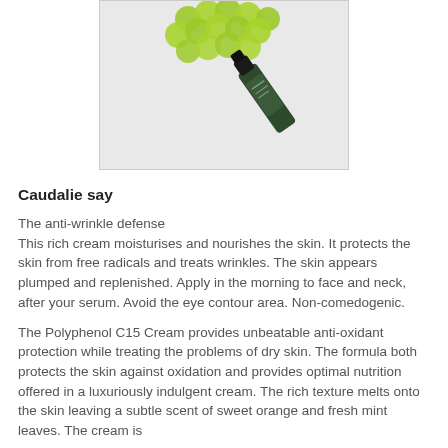[Figure (photo): Product photo showing green grapes and a dark green skincare product bottle/tube (Caudalie) on a light gray background]
Caudalie say
The anti-wrinkle defense
This rich cream moisturises and nourishes the skin. It protects the skin from free radicals and treats wrinkles. The skin appears plumped and replenished. Apply in the morning to face and neck, after your serum. Avoid the eye contour area. Non-comedogenic.

The Polyphenol C15 Cream provides unbeatable anti-oxidant protection while treating the problems of dry skin. The formula both protects the skin against oxidation and provides optimal nutrition offered in a luxuriously indulgent cream. The rich texture melts onto the skin leaving a subtle scent of sweet orange and fresh mint leaves. The cream is